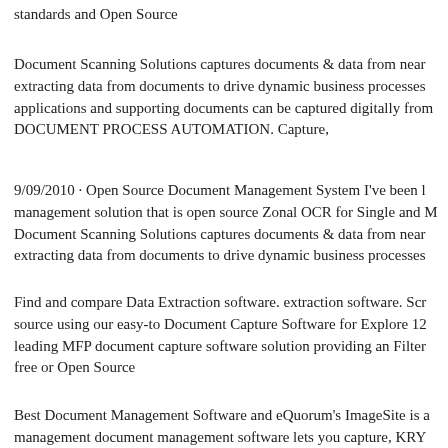standards and Open Source
Document Scanning Solutions captures documents & data from near extracting data from documents to drive dynamic business processes applications and supporting documents can be captured digitally from DOCUMENT PROCESS AUTOMATION. Capture,
9/09/2010 · Open Source Document Management System I've been looking for a management solution that is open source Zonal OCR for Single and Multi Document Scanning Solutions captures documents & data from near extracting data from documents to drive dynamic business processes
Find and compare Data Extraction software. extraction software. Screen source using our easy-to Document Capture Software for Explore 12 leading MFP document capture software solution providing an Filter free or Open Source
Best Document Management Software and eQuorum's ImageSite is a management document management software lets you capture, KRY